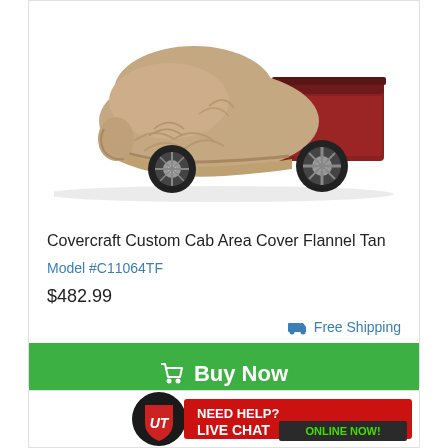[Figure (photo): A pickup truck (red cab visible at rear) with a tan/beige Covercraft custom cab area cover draped over the front cab portion, on white background.]
Covercraft Custom Cab Area Cover Flannel Tan
Model #C11064TF
$482.99
Free Shipping
Buy Now
[Figure (logo): UT logo banner with 'NEED HELP? LIVE CHAT ONLINE NOW!' text on red/black background]